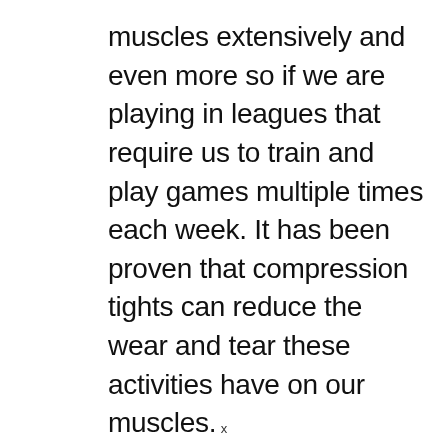muscles extensively and even more so if we are playing in leagues that require us to train and play games multiple times each week. It has been proven that compression tights can reduce the wear and tear these activities have on our muscles.
x